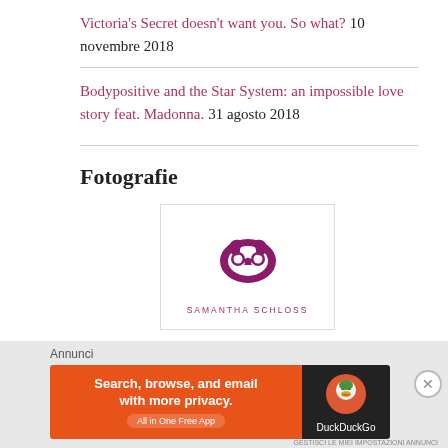Victoria's Secret doesn't want you. So what? 10 novembre 2018
Bodypositive and the Star System: an impossible love story feat. Madonna. 31 agosto 2018
Fotografie
[Figure (logo): Samantha Schloss logo: purple pretzel icon above the text SAMANTHA SCHLOSS in small purple uppercase letters]
Annunci
[Figure (screenshot): DuckDuckGo advertisement banner: orange left side with text 'Search, browse, and email with more privacy. All in One Free App' and dark right side with DuckDuckGo duck logo and text 'DuckDuckGo']